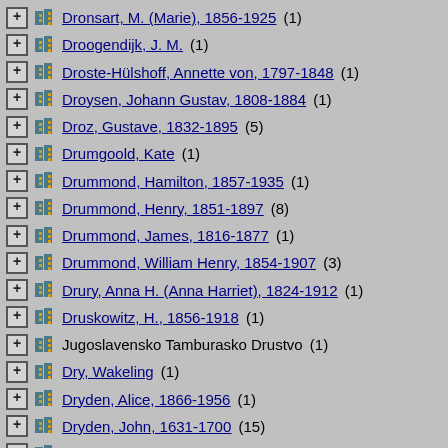Dronsart, M. (Marie), 1856-1925 (1)
Droogendijk, J. M. (1)
Droste-Hülshoff, Annette von, 1797-1848 (1)
Droysen, Johann Gustav, 1808-1884 (1)
Droz, Gustave, 1832-1895 (5)
Drumgoold, Kate (1)
Drummond, Hamilton, 1857-1935 (1)
Drummond, Henry, 1851-1897 (8)
Drummond, James, 1816-1877 (1)
Drummond, William Henry, 1854-1907 (3)
Drury, Anna H. (Anna Harriet), 1824-1912 (1)
Druskowitz, H., 1856-1918 (1)
Jugoslavensko Tamburasko Drustvo (1)
Dry, Wakeling (1)
Dryden, Alice, 1866-1956 (1)
Dryden, John, 1631-1700 (15)
Dryden, John F. (John Fairfield), 1839-1911 (1)